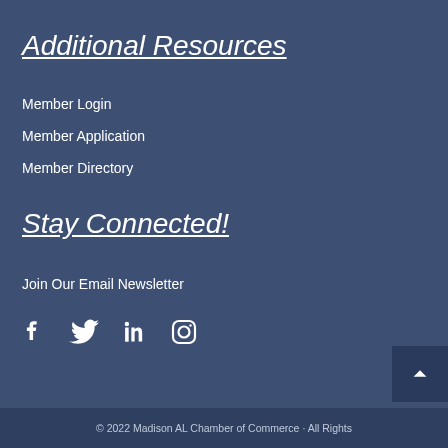Additional Resources
Member Login
Member Application
Member Directory
Stay Connected!
Join Our Email Newsletter
[Figure (infographic): Social media icons: Facebook, Twitter, LinkedIn, Instagram]
© 2022 Madison AL Chamber of Commerce · All Rights